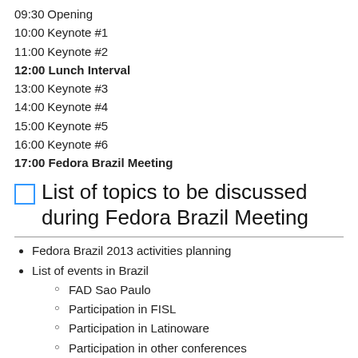09:30 Opening
10:00 Keynote #1
11:00 Keynote #2
12:00 Lunch Interval
13:00 Keynote #3
14:00 Keynote #4
15:00 Keynote #5
16:00 Keynote #6
17:00 Fedora Brazil Meeting
List of topics to be discussed during Fedora Brazil Meeting
Fedora Brazil 2013 activities planning
List of events in Brazil
FAD Sao Paulo
Participation in FISL
Participation in Latinoware
Participation in other conferences
Initiatives to build up a strong community
Schedule and action plans